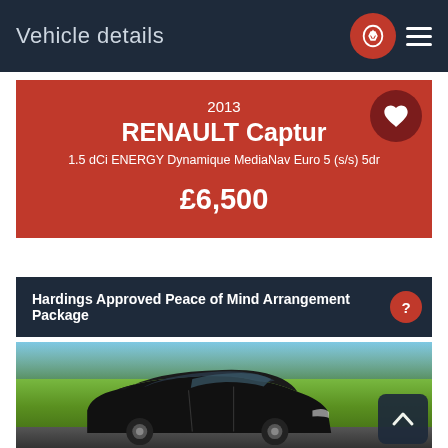Vehicle details
2013
RENAULT Captur
1.5 dCi ENERGY Dynamique MediaNav Euro 5 (s/s) 5dr
£6,500
Hardings Approved Peace of Mind Arrangement Package
[Figure (photo): Black Renault Captur SUV photographed outdoors on a sunny day with green trees and grass in the background]